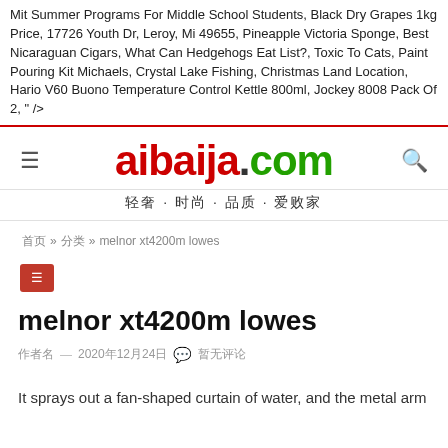Mit Summer Programs For Middle School Students, Black Dry Grapes 1kg Price, 17726 Youth Dr, Leroy, Mi 49655, Pineapple Victoria Sponge, Best Nicaraguan Cigars, What Can Hedgehogs Eat List?, Toxic To Cats, Paint Pouring Kit Michaels, Crystal Lake Fishing, Christmas Land Location, Hario V60 Buono Temperature Control Kettle 800ml, Jockey 8008 Pack Of 2, " />
aibaija.com — 轻奢·时尚·品质·爱败家
首页 » 分类 » melnor xt4200m lowes
melnor xt4200m lowes
作者名 — 2020年12月24日  💬 暂无评论
It sprays out a fan-shaped curtain of water, and the metal arm